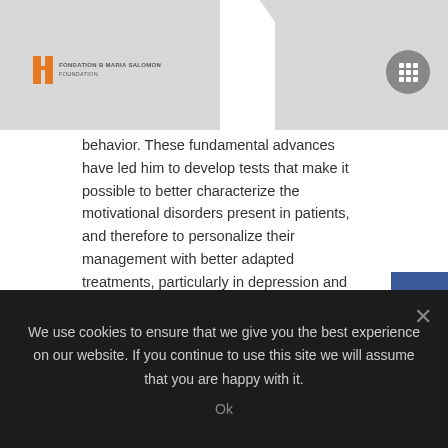Fondation B Maria Salomon Foundation - logo header
behavior. These fundamental advances have led him to develop tests that make it possible to better characterize the motivational disorders present in patients, and therefore to personalize their management with better adapted treatments, particularly in depression and schizophrenia.
Podcast Les audacieuses March
We use cookies to ensure that we give you the best experience on our website. If you continue to use this site we will assume that you are happy with it.